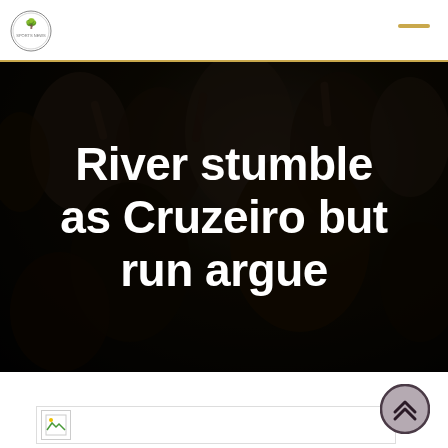[Figure (photo): Dark crowd background photo with heavy black overlay]
River stumble as Cruzeiro but run argue
[Figure (photo): Small thumbnail image placeholder at bottom of page]